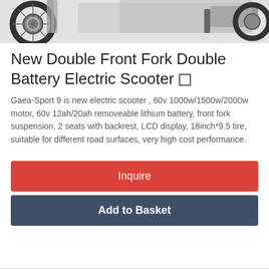[Figure (photo): Top portion of an electric scooter product photo showing front wheel/tire and body against white background]
New Double Front Fork Double Battery Electric Scooter
Gaea-Sport 9 is new electric scooter , 60v 1000w/1500w/2000w motor, 60v 12ah/20ah removeable lithium battery, front fork suspension, 2 seats with backrest, LCD display, 18inch*9.5 tire, suitable for different road surfaces, very high cost performance.
Inquire
Add to Basket